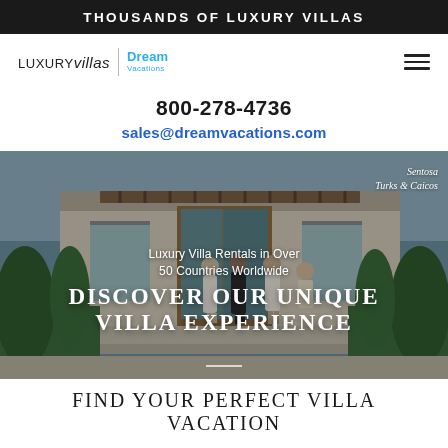THOUSANDS OF LUXURY VILLAS
[Figure (logo): Luxury Villas | Dream Vacations logo with hamburger menu icon]
800-278-4736
sales@dreamvacations.com
[Figure (photo): Hero image of a luxury villa in Sentosa, Turks & Caicos, with four people standing in front. Overlaid text reads: Luxury Villa Rentals in Over 50 Countries Worldwide / DISCOVER OUR UNIQUE VILLA EXPERIENCE]
FIND YOUR PERFECT VILLA VACATION